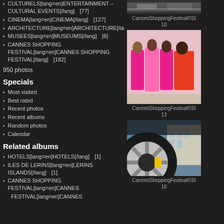CULTURELS[lang=en]ENTERTAINMENT – CULTURAL EVENTS[/lang]   [77]
CINEMA[lang=en]CINEMA[/lang]   [127]
ARCHITECTURE[lang=en]ARCHITECTURE[/lang]   [18]
MUSEES[lang=en]MUSEUMS[/lang]   [6]
CANNES SHOPPING FESTIVAL[lang=en]CANNES SHOPPING FESTIVAL[/lang]   [182]
950 photos
Specials
Most visited
Best rated
Recent photos
Recent albums
Random photos
Calendar
Related albums
HOTELS[lang=en]HOTELS[/lang]   [1]
ILES DE LERINS[lang=en]LERINS ISLANDS[/lang]   [1]
CANNES SHOPPING FESTIVAL[lang=en]CANNES SHOPPING FESTIVAL[/lang]
[Figure (photo): Car/vehicle photo - CannesShoppingFestival]
CannesShoppingFestival©SI 10
[Figure (photo): Four women in colorful dresses - CannesShoppingFestival]
CannesShoppingFestival©SI 13
[Figure (photo): Car wheel/tire close-up - CannesShoppingFestival]
CannesShoppingFestival©SI 16